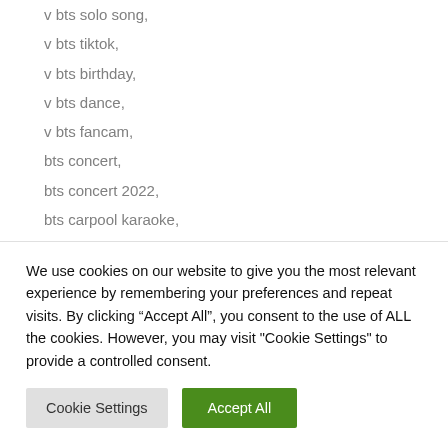v bts solo song,
v bts tiktok,
v bts birthday,
v bts dance,
v bts fancam,
bts concert,
bts concert 2022,
bts carpool karaoke,
bts crying,
bts chill playlist,
bts choreography,
We use cookies on our website to give you the most relevant experience by remembering your preferences and repeat visits. By clicking “Accept All”, you consent to the use of ALL the cookies. However, you may visit "Cookie Settings" to provide a controlled consent.
Cookie Settings | Accept All